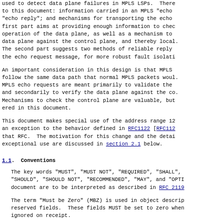used to detect data plane failures in MPLS LSPs.  There to this document: information carried in an MPLS "echo "echo reply"; and mechanisms for transporting the echo first part aims at providing enough information to chec operation of the data plane, as well as a mechanism to data plane against the control plane, and thereby local. The second part suggests two methods of reliable reply the echo request message, for more robust fault isolati
An important consideration in this design is that MPLS follow the same data path that normal MPLS packets woul. MPLS echo requests are meant primarily to validate the and secondarily to verify the data plane against the co. Mechanisms to check the control plane are valuable, but ered in this document.
This document makes special use of the address range 12 an exception to the behavior defined in RFC1122 [RFC112 that RFC.  The motivation for this change and the detai exceptional use are discussed in section 2.1 below.
1.1. Conventions
The key words "MUST", "MUST NOT", "REQUIRED", "SHALL", "SHOULD", "SHOULD NOT", "RECOMMENDED", "MAY", and "OPTI document are to be interpreted as described in RFC 2119
The term "Must be Zero" (MBZ) is used in object descri reserved fields.  These fields MUST be set to zero when ignored on receipt.